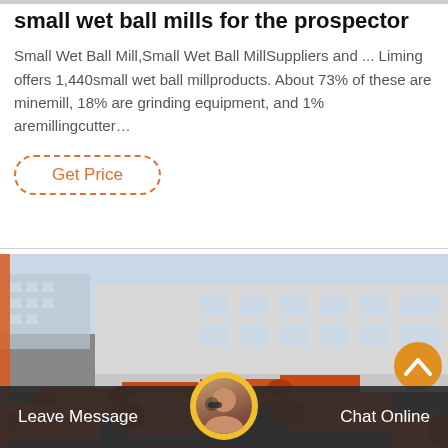small wet ball mills for the prospector
Small Wet Ball Mill,Small Wet Ball MillSuppliers and ... Liming offers 1,440small wet ball millproducts. About 73% of these are minemill, 18% are grinding equipment, and 1% aremillingcutter…
Get Price
[Figure (photo): Factory yard with large orange cylindrical ball mill drums stacked outdoors in front of a multi-storey industrial building. An orange scroll-to-top button is visible in the lower right of the image.]
Leave Message  Chat Online